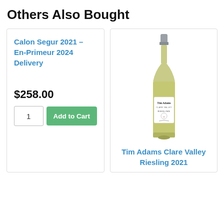Others Also Bought
Calon Segur 2021 – En-Primeur 2024 Delivery
$258.00
1
Add to Cart
[Figure (photo): White wine bottle with gray cap and white label reading Tim Adams Clare Valley Riesling]
Tim Adams Clare Valley Riesling 2021